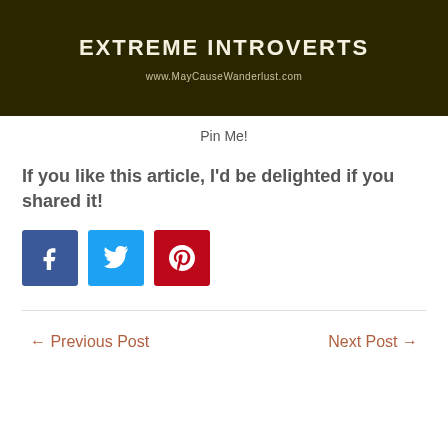[Figure (illustration): Dark brown/olive background image with white bold text 'EXTREME INTROVERTS' and website URL 'www.MayCauseWanderlust.com' centered below]
Pin Me!
If you like this article, I'd be delighted if you shared it!
[Figure (infographic): Three social share buttons: Facebook (blue), Twitter (light blue), Pinterest (red) with respective icons]
← Previous Post     Next Post →